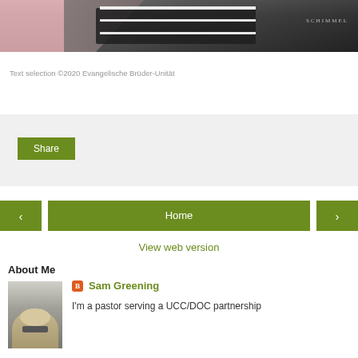[Figure (photo): Person in pink shirt playing a Schimmel piano, dark background]
Text selection ©2020 Evangelische Brüder-Unität
[Figure (other): Share button widget area with light grey background]
[Figure (other): Navigation bar with left arrow, Home button, and right arrow in olive green]
View web version
About Me
[Figure (photo): Profile photo of Sam Greening]
Sam Greening
I'm a pastor serving a UCC/DOC partnership